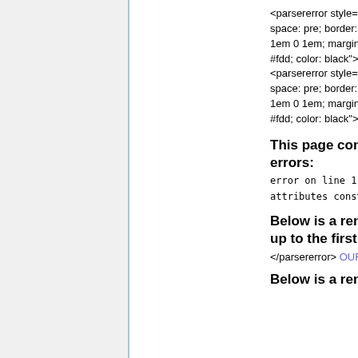<parsererror style="display: block; white-space: pre; border: 2px solid #c77; padding: 0 1em 0 1em; margin: 1em; background-color: #fdd; color: black"> <parsererror style="display: block; white-space: pre; border: 2px solid #c77; padding: 0 1em 0 1em; margin: 1em; background-color: #fdd; color: black">
This page contains the following errors:
error on line 1 at column 190: attributes construct error
Below is a rendering of the page up to the first error.
</parsererror> OUR SERVICES
Below is a rendering of the page